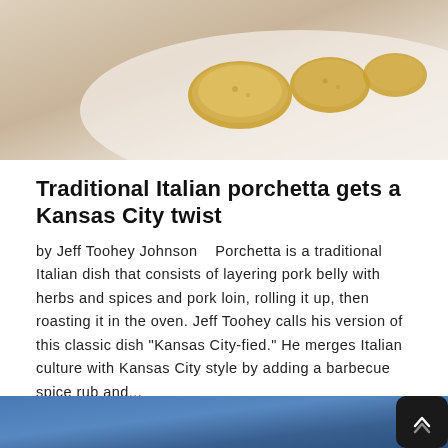[Figure (photo): Food photo showing golden-brown porchetta pieces on a white plate, viewed from above]
Traditional Italian porchetta gets a Kansas City twist
by Jeff Toohey Johnson   Porchetta is a traditional Italian dish that consists of layering pork belly with herbs and spices and pork loin, rolling it up, then roasting it in the oven. Jeff Toohey calls his version of this classic dish "Kansas City-fied." He merges Italian culture with Kansas City style by adding a barbecue spice rub and...
👁 1115  -  💬 0
READ MORE →
[Figure (photo): Blue gradient background image, partially visible at bottom of page]